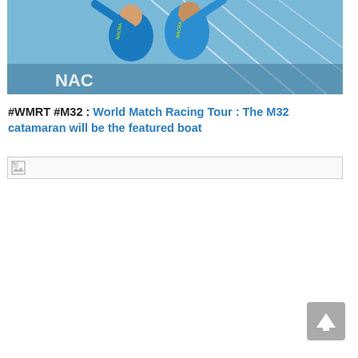[Figure (photo): Two sailors in bright blue Nacra branded jackets celebrating with arms raised, standing in front of sailing rigging and white sail structure]
#WMRT #M32 : World Match Racing Tour : The M32 catamaran will be the featured boat
[Figure (photo): Broken/missing image placeholder icon with border box]